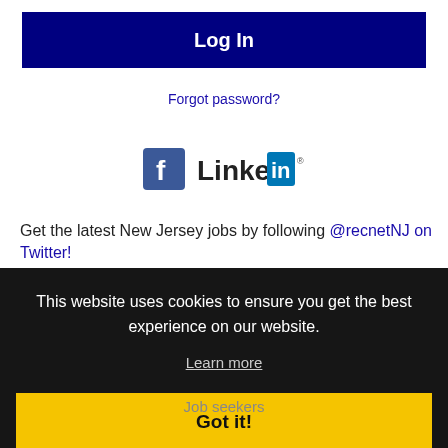Log In
Forgot password?
[Figure (logo): Facebook and LinkedIn social media logos side by side]
Get the latest New Jersey jobs by following @recnetNJ on Twitter!
This website uses cookies to ensure you get the best experience on our website.
Learn more
Got it!
Job seekers